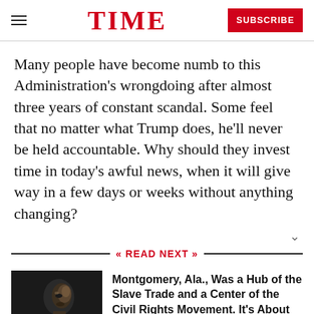TIME  SUBSCRIBE
Many people have become numb to this Administration's wrongdoing after almost three years of constant scandal. Some feel that no matter what Trump does, he'll never be held accountable. Why should they invest time in today's awful news, when it will give way in a few days or weeks without anything changing?
READ NEXT
[Figure (photo): Black and white photo of a man looking upward, partially silhouetted]
Montgomery, Ala., Was a Hub of the Slave Trade and a Center of the Civil Rights Movement. It's About to Swear in Its First...